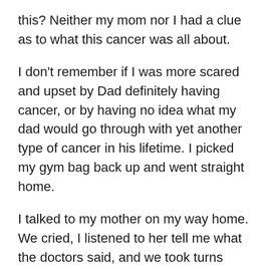this? Neither my mom nor I had a clue as to what this cancer was all about.
I don't remember if I was more scared and upset by Dad definitely having cancer, or by having no idea what my dad would go through with yet another type of cancer in his lifetime. I picked my gym bag back up and went straight home.
I talked to my mother on my way home. We cried, I listened to her tell me what the doctors said, and we took turns voicing our concerns. To my surprise, despite the news he got that day, Dad still went to work. I don't know how my father has the strength that he has, I only hope it rubs off on me somehow